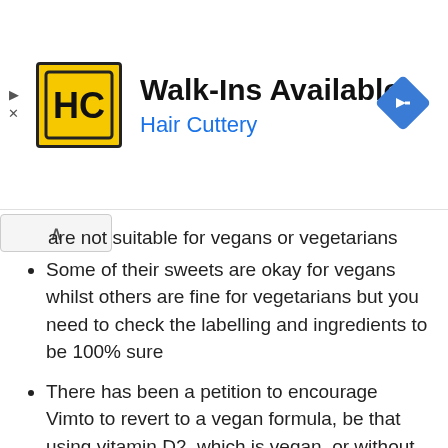[Figure (logo): Hair Cuttery advertisement banner with HC logo, Walk-Ins Available text, Hair Cuttery subtitle, and navigation arrow icon]
are not suitable for vegans or vegetarians
Some of their sweets are okay for vegans whilst others are fine for vegetarians but you need to check the labelling and ingredients to be 100% sure
There has been a petition to encourage Vimto to revert to a vegan formula, be that using vitamin D2, which is vegan, or without the addition of vitamin D at all
In the modern era, with a rapidly swelling vegan population, it is quite unusual for a big company to change their product to go from being vegan to being non-vegan. It certainly seems strange but unless they